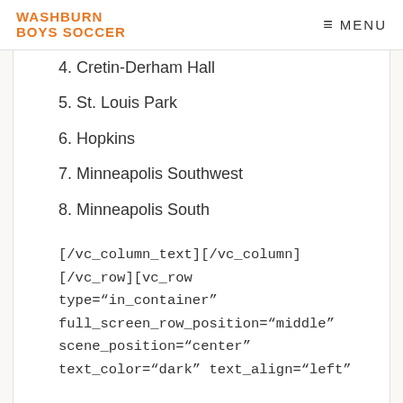WASHBURN BOYS SOCCER | MENU
4. Cretin-Derham Hall
5. St. Louis Park
6. Hopkins
7. Minneapolis Southwest
8. Minneapolis South
[/vc_column_text][/vc_column][/vc_row][vc_row type="in_container" full_screen_row_position="middle" scene_position="center" text_color="dark" text_align="left"